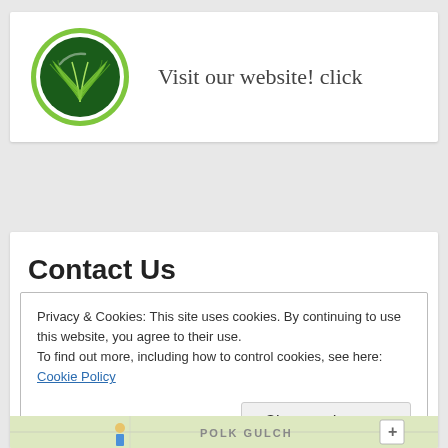[Figure (logo): Green circular logo with a palm frond / fern leaf silhouette on dark green background, surrounded by a lighter green ring]
Visit our website! click
Contact Us
Privacy & Cookies: This site uses cookies. By continuing to use this website, you agree to their use.
To find out more, including how to control cookies, see here:
Cookie Policy
Close and accept
[Figure (map): Street map snippet showing POLK GULCH area with map controls]